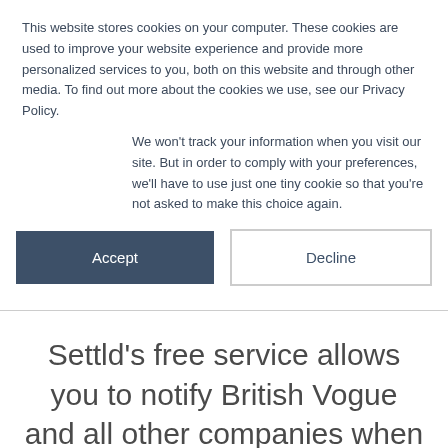This website stores cookies on your computer. These cookies are used to improve your website experience and provide more personalized services to you, both on this website and through other media. To find out more about the cookies we use, see our Privacy Policy.
We won't track your information when you visit our site. But in order to comply with your preferences, we'll have to use just one tiny cookie so that you're not asked to make this choice again.
Accept | Decline
Settld's free service allows you to notify British Vogue and all other companies when an account holder dies, using just one form. Using Settld means you no longer have to make